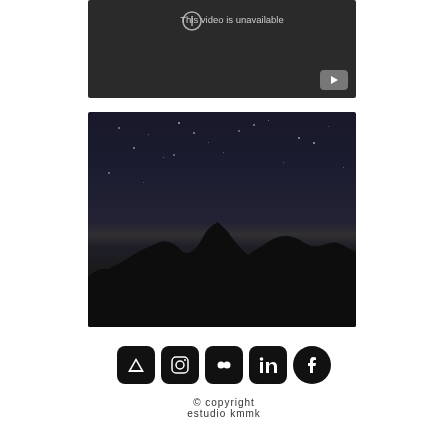[Figure (screenshot): YouTube video embed showing 'This video is unavailable' message on dark background with YouTube play button icon in bottom right]
[Figure (photo): Night sky photograph showing stars over dark mountain/treeline silhouette with faint horizon glow, in black and white/dark tones]
[Figure (other): Row of five social media icons: Arch/triangle icon (black rounded square), Instagram icon (black rounded square), Flickr icon (black rounded square), LinkedIn icon (black rounded square), Facebook icon (black circle)]
© copyright
estudio kmmk